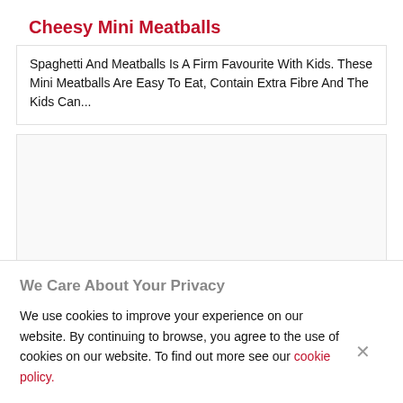Cheesy Mini Meatballs
Spaghetti And Meatballs Is A Firm Favourite With Kids. These Mini Meatballs Are Easy To Eat, Contain Extra Fibre And The Kids Can...
[Figure (other): Empty white box with border, possibly an image placeholder]
We Care About Your Privacy
We use cookies to improve your experience on our website. By continuing to browse, you agree to the use of cookies on our website. To find out more see our cookie policy.